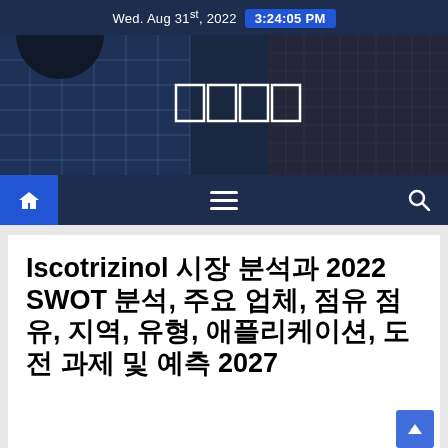Wed. Aug 31st, 2022  3:24:05 PM
[Figure (photo): Hero banner showing skyscraper buildings with blue-tinted glass facades and dark grid patterns. Four white outlined boxes (logo) centered on the image.]
[Figure (infographic): Navigation bar with home icon (blue background), hamburger menu icon, and search icon on dark navy background.]
Iscotrizinol 시장 분석과 2022 SWOT 분석, 주요 업체, 점유 점유, 지역, 유형, 애플리케이션, 도전 과제 및 예측 2027